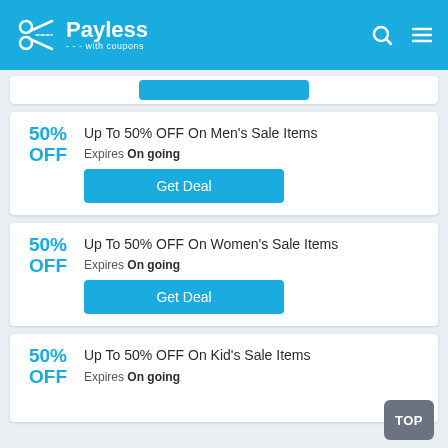Payless with coupons
50% OFF — Up To 50% OFF On Men's Sale Items — Expires On going — Get Deal
50% OFF — Up To 50% OFF On Women's Sale Items — Expires On going — Get Deal
50% OFF — Up To 50% OFF On Kid's Sale Items — Expires On going